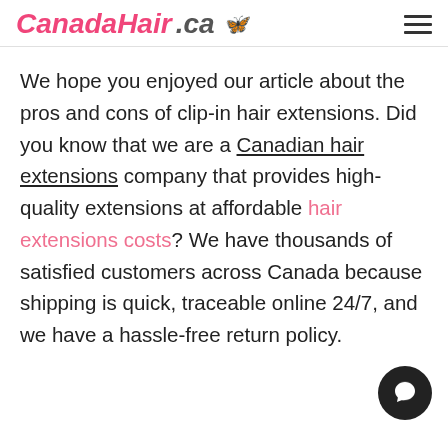CanadaHair.ca
We hope you enjoyed our article about the pros and cons of clip-in hair extensions. Did you know that we are a Canadian hair extensions company that provides high-quality extensions at affordable hair extensions costs? We have thousands of satisfied customers across Canada because shipping is quick, traceable online 24/7, and we have a hassle-free return policy.